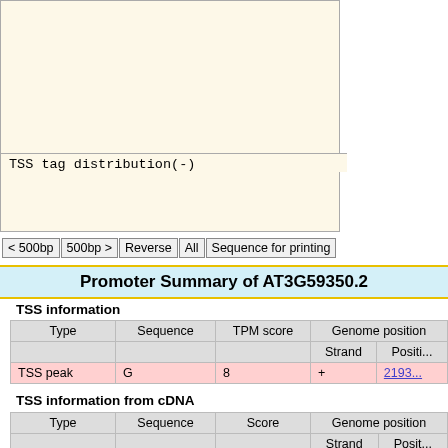[Figure (other): TSS tag distribution(-) plot area, light yellow background box with label at top-left reading 'TSS tag distribution(-)']
< 500bp | 500bp > | Reverse | All | Sequence for printing
Promoter Summary of AT3G59350.2
TSS information
| Type | Sequence | TPM score | Genome position |  | Strand | Posit... |
| --- | --- | --- | --- | --- | --- | --- |
| TSS peak | G | 8 | + |  | 2193... |
TSS information from cDNA
| Type | Sequence | Score | Genome position |  | Strand | Posit... |
| --- | --- | --- | --- | --- | --- | --- |
| TSS clone | G | clone | + |  | 2193... |